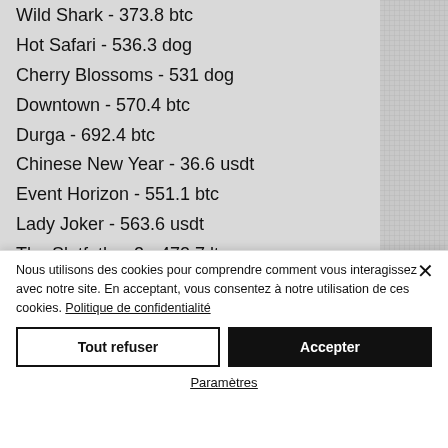Wild Shark - 373.8 btc
Hot Safari - 536.3 dog
Cherry Blossoms - 531 dog
Downtown - 570.4 btc
Durga - 692.4 btc
Chinese New Year - 36.6 usdt
Event Horizon - 551.1 btc
Lady Joker - 563.6 usdt
The Slotfather 2 - 472.7 ltc
Diamond Chief - 610 eth
Videoslots, card and board games:
Nous utilisons des cookies pour comprendre comment vous interagissez avec notre site. En acceptant, vous consentez à notre utilisation de ces cookies. Politique de confidentialité
Tout refuser
Accepter
Paramètres